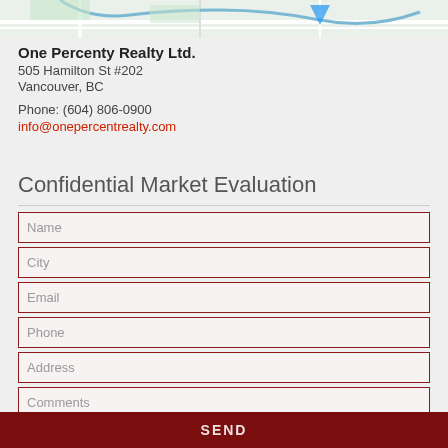[Figure (map): Partial map view at the top of the page showing street map tiles with colored roads]
One Percenty Realty Ltd.
505 Hamilton St #202
Vancouver, BC

Phone: (604) 806-0900
info@onepercentrealty.com
Confidential Market Evaluation
Name
City
Email
Phone
Address
Comments
SEND